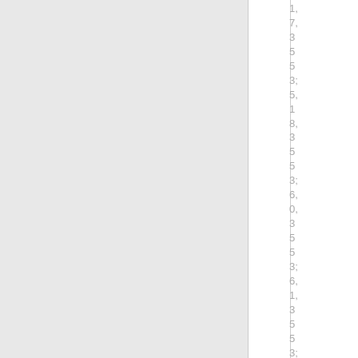[Figure (other): Large light gray rectangular panel occupying the left two-thirds of the page]
1,7,3 5 5 3;5,1 8,3 5 5 3;6,0,3 5 5 3;6,1,3 5 5 3;6,2,3 5 5 3;6,